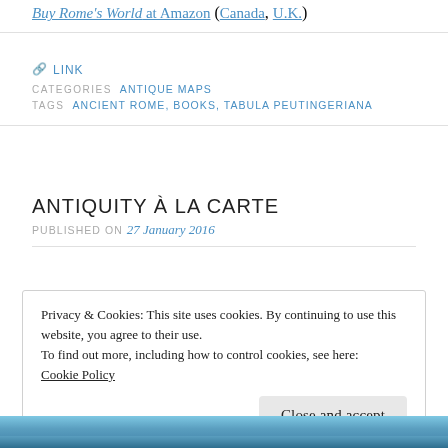Buy Rome's World at Amazon (Canada, U.K.)
LINK
CATEGORIES  ANTIQUE MAPS
TAGS  ANCIENT ROME, BOOKS, TABULA PEUTINGERIANA
ANTIQUITY À LA CARTE
PUBLISHED ON 27 January 2016
Privacy & Cookies: This site uses cookies. By continuing to use this website, you agree to their use.
To find out more, including how to control cookies, see here:
Cookie Policy
Close and accept
[Figure (map): Bottom strip showing a blue map image (Antiquity à la Carte interactive map)]